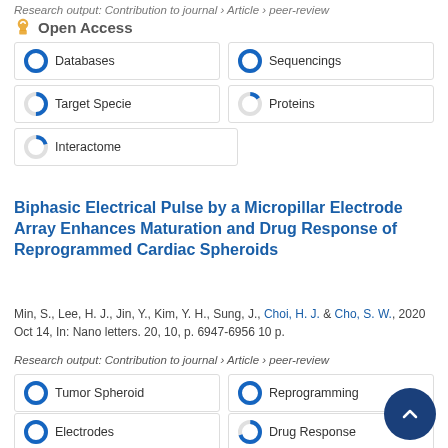Research output: Contribution to journal › Article › peer-review
Open Access
[Figure (other): Keyword badges with donut-chart fill indicators: Databases 100%, Sequencings 100%, Target Specie 50%, Proteins 15%, Interactome 20%]
Biphasic Electrical Pulse by a Micropillar Electrode Array Enhances Maturation and Drug Response of Reprogrammed Cardiac Spheroids
Min, S., Lee, H. J., Jin, Y., Kim, Y. H., Sung, J., Choi, H. J. & Cho, S. W., 2020 Oct 14, In: Nano letters. 20, 10, p. 6947-6956 10 p.
Research output: Contribution to journal › Article › peer-review
[Figure (other): Keyword badges with donut-chart fill indicators: Tumor Spheroid 100%, Reprogramming 100%, Electrodes 100%, Drug Response 70%, Cardiomyocyte 70%]